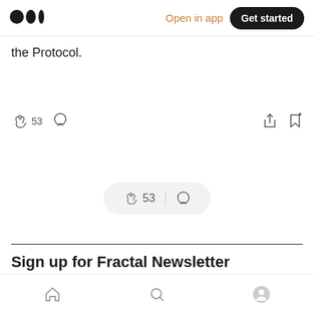Medium logo | Open in app | Get started
the Protocol.
[Figure (infographic): Interaction bar with clapping hand icon showing 53 claps, comment bubble icon, share icon, and bookmark icon]
[Figure (infographic): Floating pill button with clapping hand icon, 53, vertical divider, and comment bubble icon]
Sign up for Fractal Newsletter
By Fractal
Join to explore industry news, emerging tech use cases, and highlights of Fractal's products. Take a look
Home | Search | Profile — bottom navigation bar